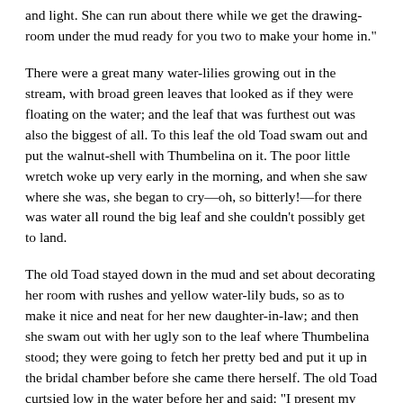and light. She can run about there while we get the drawing-room under the mud ready for you two to make your home in."
There were a great many water-lilies growing out in the stream, with broad green leaves that looked as if they were floating on the water; and the leaf that was furthest out was also the biggest of all. To this leaf the old Toad swam out and put the walnut-shell with Thumbelina on it. The poor little wretch woke up very early in the morning, and when she saw where she was, she began to cry—oh, so bitterly!—for there was water all round the big leaf and she couldn't possibly get to land.
The old Toad stayed down in the mud and set about decorating her room with rushes and yellow water-lily buds, so as to make it nice and neat for her new daughter-in-law; and then she swam out with her ugly son to the leaf where Thumbelina stood; they were going to fetch her pretty bed and put it up in the bridal chamber before she came there herself. The old Toad curtsied low in the water before her and said: "I present my son to you. He is going to be your husband, and you will have a delightful life with him down in the mud."
"Koäx, koäx, brekke-ke-kex," was all the son could say.
So they took the beautiful little bed and swam off with it while Thumbelina sat all alone on the green leaf crying, for she didn't